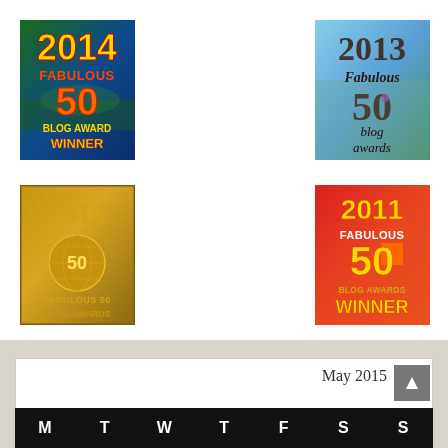[Figure (illustration): 2014 Fabulous 50 Blog Award Winner badge - colorful badge with yellow/orange '2014' text, red 'FABULOUS', orange '50', and yellow 'BLOG AWARD WINNER' on dark green background]
[Figure (illustration): 2013 Fabulous 50 Blog Awards badge - stone/earth toned badge with '2013' at top, 'Fabulous' in italic, large '50', and 'blog awards' text on blue/green gradient background]
[Figure (illustration): 2012 Fabulous 50 Blog Awards badge - gold/bronze metallic badge with '2012' text, globe icon with '50' inside, and 'FABULOUS 50 BLOG AWARDS' text]
[Figure (illustration): 2011 Fabulous 50 Blog Awards Winner badge - red/orange gradient badge with gold '2011', white 'FABULOUS', large gold '50', gold 'BLOG AWARDS', and large gold 'WINNER' text]
May 2015
| M | T | W | T | F | S | S |
| --- | --- | --- | --- | --- | --- | --- |